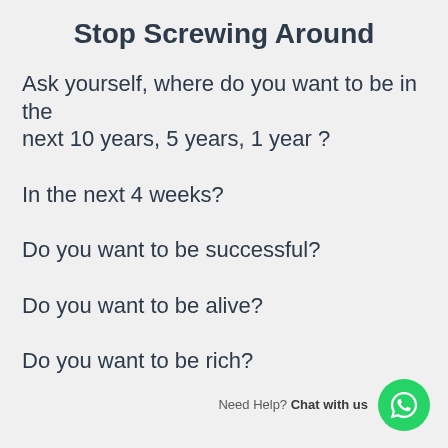Stop Screwing Around
Ask yourself, where do you want to be in the next 10 years, 5 years, 1 year ?
In the next 4 weeks?
Do you want to be successful?
Do you want to be alive?
Do you want to be rich?
Need Help? Chat with us
Do you want to be free?